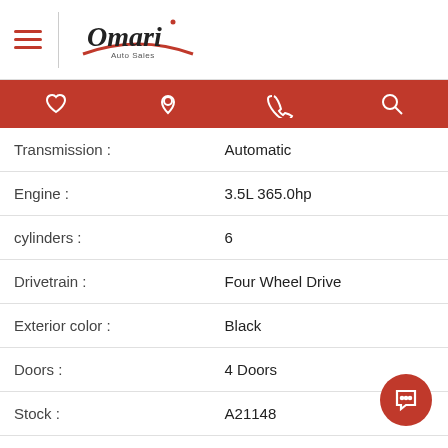Omari Auto Sales
| Field | Value |
| --- | --- |
| Transmission : | Automatic |
| Engine : | 3.5L 365.0hp |
| cylinders : | 6 |
| Drivetrain : | Four Wheel Drive |
| Exterior color : | Black |
| Doors : | 4 Doors |
| Stock : | A21148 |
| Fuel Type : | Gasoline |